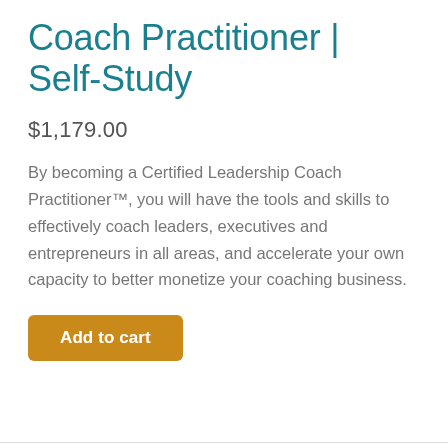Coach Practitioner | Self-Study
$1,179.00
By becoming a Certified Leadership Coach Practitioner™, you will have the tools and skills to effectively coach leaders, executives and entrepreneurs in all areas, and accelerate your own capacity to better monetize your coaching business.
Add to cart